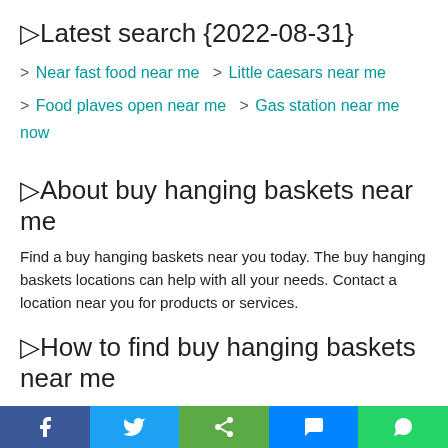▷Latest search {2022-08-31}
> Near fast food near me   > Little caesars near me
> Food plaves open near me   > Gas station near me now
▷About buy hanging baskets near me
Find a buy hanging baskets near you today. The buy hanging baskets locations can help with all your needs. Contact a location near you for products or services.
▷How to find buy hanging baskets near me
Open Google Maps on your computer or APP, just type an address or name of a place . Then press 'Enter' or Click 'Search', you'll see search results as red mini-pins or red dots where mini-pins…